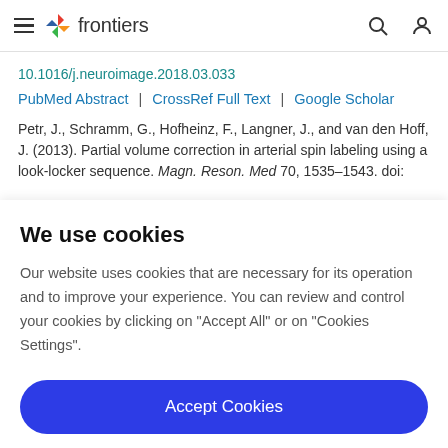frontiers
10.1016/j.neuroimage.2018.03.033
PubMed Abstract | CrossRef Full Text | Google Scholar
Petr, J., Schramm, G., Hofheinz, F., Langner, J., and van den Hoff, J. (2013). Partial volume correction in arterial spin labeling using a look-locker sequence. Magn. Reson. Med 70, 1535–1543. doi:
We use cookies
Our website uses cookies that are necessary for its operation and to improve your experience. You can review and control your cookies by clicking on "Accept All" or on "Cookies Settings".
Accept Cookies
Cookies Settings